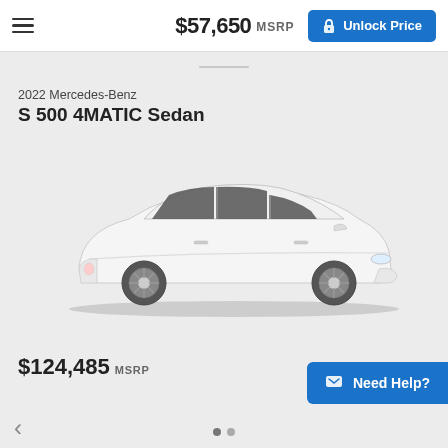$57,650 MSRP  Unlock Price
2022 Mercedes-Benz
S 500 4MATIC Sedan
[Figure (photo): Side profile of a white 2022 Mercedes-Benz S 500 4MATIC Sedan on a light grey background]
$124,485 MSRP
Need Help?